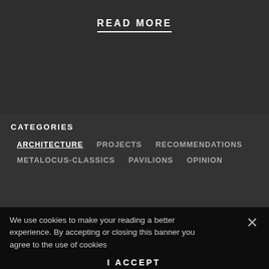READ MORE
CATEGORIES
ARCHITECTURE   PROJECTS   RECOMMENDATIONS
METALOCUS-CLASSICS   PAVILIONS   OPINION
We use cookies to make your reading a better experience. By accepting or closing this banner you agree to the use of cookies
I ACCEPT
Read cookies policy